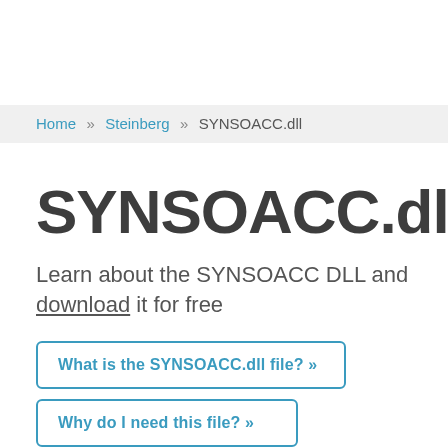Home » Steinberg » SYNSOACC.dll
SYNSOACC.dll
Learn about the SYNSOACC DLL and download it for free
What is the SYNSOACC.dll file? »
Why do I need this file? »